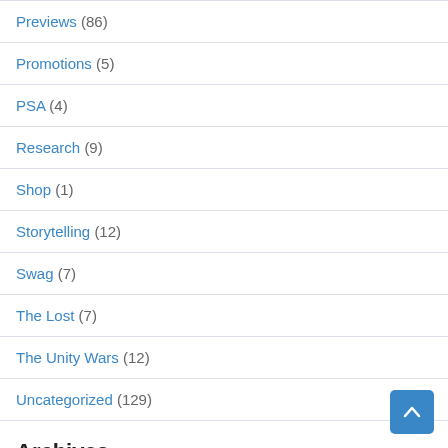Previews (86)
Promotions (5)
PSA (4)
Research (9)
Shop (1)
Storytelling (12)
Swag (7)
The Lost (7)
The Unity Wars (12)
Uncategorized (129)
Archives
Select Month